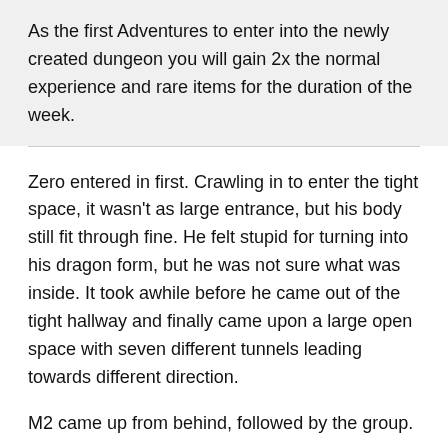As the first Adventures to enter into the newly created dungeon you will gain 2x the normal experience and rare items for the duration of the week.
Zero entered in first. Crawling in to enter the tight space, it wasn't as large entrance, but his body still fit through fine. He felt stupid for turning into his dragon form, but he was not sure what was inside. It took awhile before he came out of the tight hallway and finally came upon a large open space with seven different tunnels leading towards different direction.
M2 came up from behind, followed by the group.